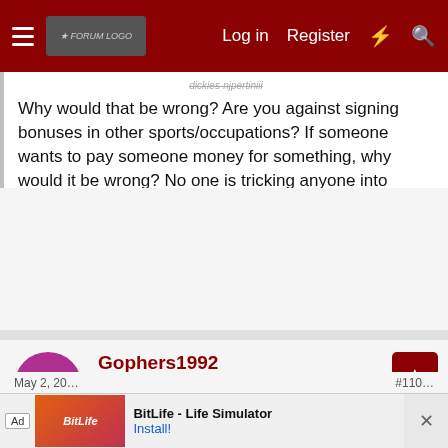Log in  Register
Why would that be wrong? Are you against signing bonuses in other sports/occupations? If someone wants to pay someone money for something, why would it be wrong? No one is tricking anyone into anything. Paying people upfront is a gamble and it happens in every major industry in the world.

I've seen some arguments against NIL and paying college athletes, I didn't think I'd ever see anyone argue it's unfair to the rich boosters who want to pay the money.
Gophers1992
Well-known member
May 2, 20... #110...